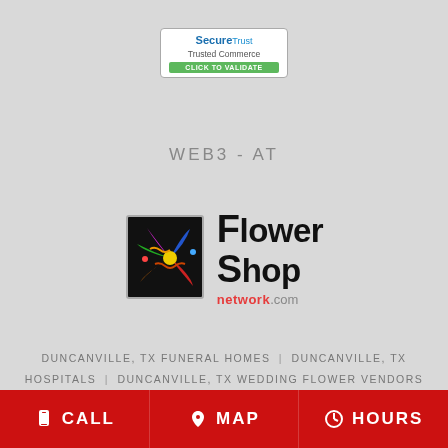[Figure (logo): SecureTrust Trusted Commerce badge with 'CLICK TO VALIDATE' green button]
WEB3-AT
[Figure (logo): Flower Shop Network logo with colorful pinwheel icon and text 'Flower Shop network.com']
DUNCANVILLE, TX FUNERAL HOMES | DUNCANVILLE, TX HOSPITALS | DUNCANVILLE, TX WEDDING FLOWER VENDORS DUNCANVILLE, TX WEATHER | TX STATE GOVERNMENT SITE PRIVACY POLICY | TERMS OF PURCHASE
CALL | MAP | HOURS